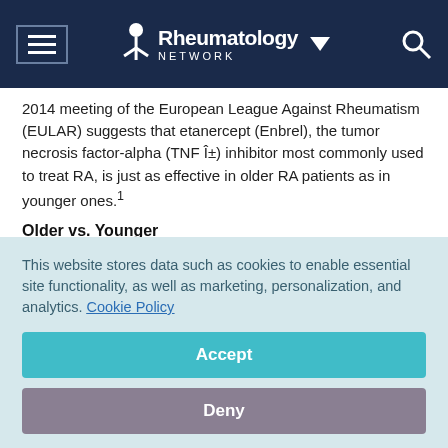Rheumatology Network
2014 meeting of the European League Against Rheumatism (EULAR) suggests that etanercept (Enbrel), the tumor necrosis factor-alpha (TNF α) inhibitor most commonly used to treat RA, is just as effective in older RA patients as in younger ones.¹
Older vs. Younger
Depending on the specific population studied, the average age
This website stores data such as cookies to enable essential site functionality, as well as marketing, personalization, and analytics. Cookie Policy
Accept
Deny